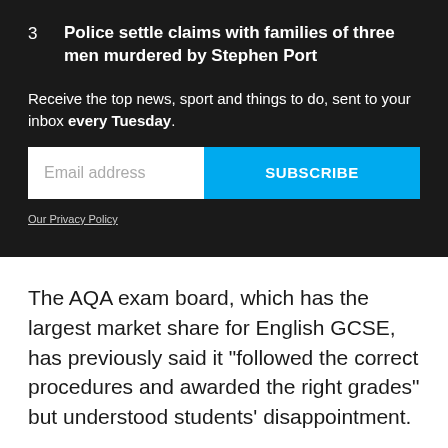3  Police settle claims with families of three men murdered by Stephen Port
Receive the top news, sport and things to do, sent to your inbox every Tuesday.
Email address  SUBSCRIBE
Our Privacy Policy
The AQA exam board, which has the largest market share for English GCSE, has previously said it “followed the correct procedures and awarded the right grades” but understood students’ disappointment.